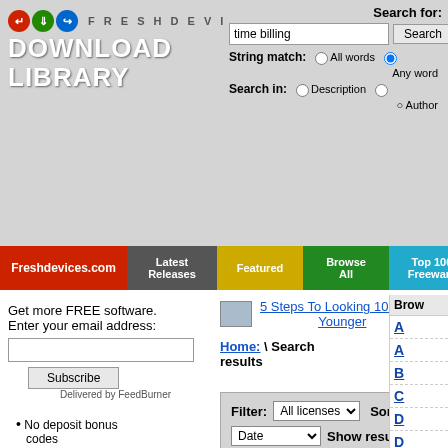[Figure (screenshot): FreshDevices Download Library website header with logo, search bar, and navigation menu]
Search for:
time billing
String match: All words Any word
Search in: Description Author
Freshdevices.com | Latest Releases | Featured | Browse All | Top 100 Freeware | Editor's Pick
Get more FREE software. Enter your email address:
Delivered by FeedBurner
No deposit bonus codes
5 Steps To Looking 10 Years Younger
Home: \ Search results    Showing: 1-8 of 8
Filter: All licenses  Sort by: Date  Show results: 10   Go
BS1 Professional Time Billing 2014.6
by: Davis Software
not rated yet...
Brow A A B C D D E G Ente G